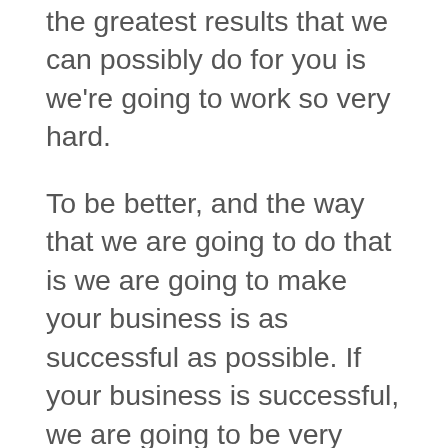the greatest results that we can possibly do for you is we're going to work so very hard.
To be better, and the way that we are going to do that is we are going to make your business is as successful as possible. If your business is successful, we are going to be very happy about that, and we are very certain that you are going to appreciate everything that we are going to do for you.
We want you to visit our website, and we also want you to call. If you have any questions about systems integrations, and we do generation, or perhaps you